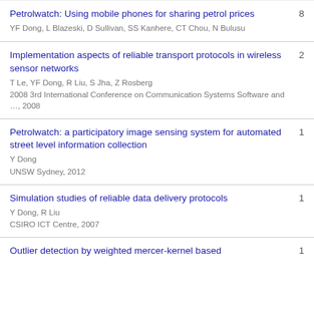Petrolwatch: Using mobile phones for sharing petrol prices
YF Dong, L Blazeski, D Sullivan, SS Kanhere, CT Chou, N Bulusu
Citations: 8
Implementation aspects of reliable transport protocols in wireless sensor networks
T Le, YF Dong, R Liu, S Jha, Z Rosberg
2008 3rd International Conference on Communication Systems Software and …, 2008
Citations: 2
Petrolwatch: a participatory image sensing system for automated street level information collection
Y Dong
UNSW Sydney, 2012
Citations: 1
Simulation studies of reliable data delivery protocols
Y Dong, R Liu
CSIRO ICT Centre, 2007
Citations: 1
Outlier detection by weighted mercer-kernel based
Citations: 1